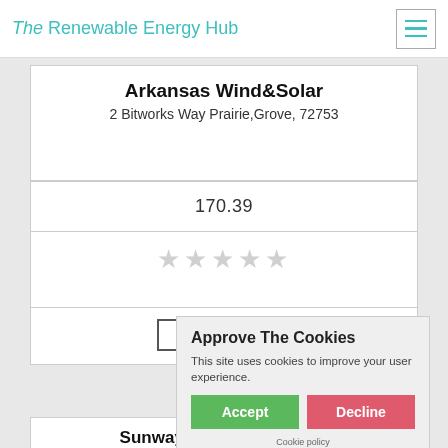The Renewable Energy Hub
Arkansas Wind&Solar
2 Bitworks Way Prairie,Grove, 72753
170.39
[Figure (other): Five empty star rating icons in light grey]
Get a Quote
Approve The Cookies
This site uses cookies to improve your user experience.
Accept | Decline
Cookie policy
Sunway Energy Solutions